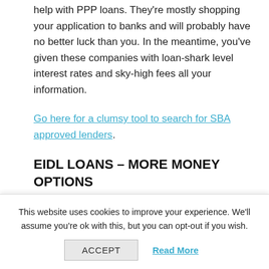help with PPP loans. They're mostly shopping your application to banks and will probably have no better luck than you. In the meantime, you've given these companies with loan-shark level interest rates and sky-high fees all your information.
Go here for a clumsy tool to search for SBA approved lenders.
EIDL LOANS – MORE MONEY OPTIONS
Last week, Congress also added $60 billion in
This website uses cookies to improve your experience. We'll assume you're ok with this, but you can opt-out if you wish.